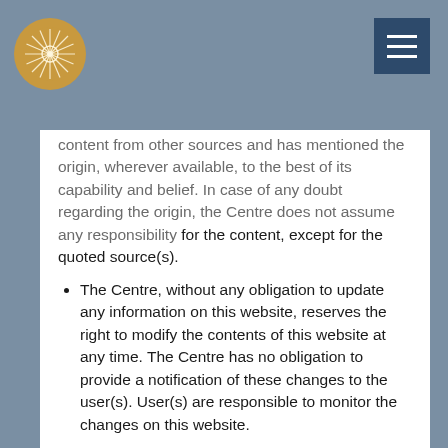content from other sources and has mentioned the origin, wherever available, to the best of its capability and belief. In case of any doubt regarding the origin, the Centre does not assume any responsibility for the content, except for the quoted source(s).
The Centre, without any obligation to update any information on this website, reserves the right to modify the contents of this website at any time. The Centre has no obligation to provide a notification of these changes to the user(s). User(s) are responsible to monitor the changes on this website.
The Centre does not guarantee, represent or warrant that use of the website by user(s) will be uninterrupted, timely, secure or error-free.
The Centre reserves the right to send newsletter/or any other material to the user using user's email address. At any time, the user will be able to unsubscribe from the subscriber's list using the link provided within the email received.
Privacy of the users' information will be governed by the Centre's privacy policy. If you are using the website(s) or mobile app for the registration of the courses, you will be governed by the terms of additional policy for